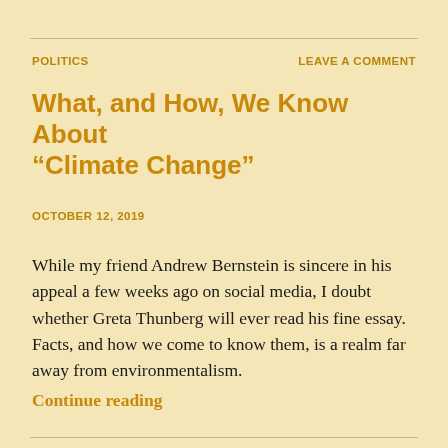POLITICS
LEAVE A COMMENT
What, and How, We Know About “Climate Change”
OCTOBER 12, 2019
While my friend Andrew Bernstein is sincere in his appeal a few weeks ago on social media, I doubt whether Greta Thunberg will ever read his fine essay. Facts, and how we come to know them, is a realm far away from environmentalism.
Continue reading